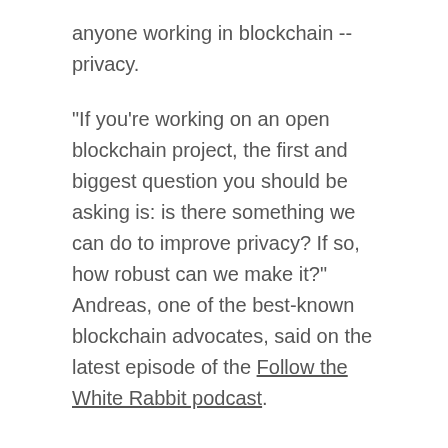anyone working in blockchain -- privacy.
"If you're working on an open blockchain project, the first and biggest question you should be asking is: is there something we can do to improve privacy? If so, how robust can we make it?" Andreas, one of the best-known blockchain advocates, said on the latest episode of the Follow the White Rabbit podcast.
Andreas, whose mission is to educate the world about bitcoin and open blockchains and reveal their historical, technological and socio-economic impact, urging everyone to prioritize protecting privacy. He warned that society is straining at the seams and institutions threatened with change resort to lashing out.